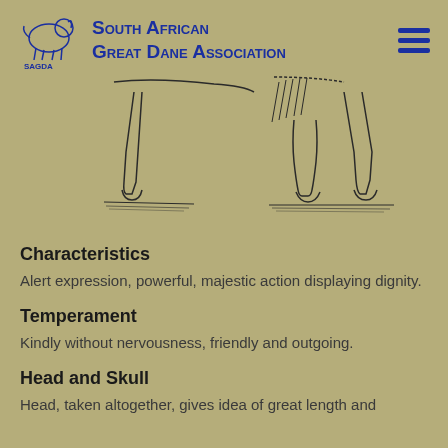South African Great Dane Association
[Figure (illustration): Line drawing illustration of Great Dane dog legs/hindquarters, showing two poses side by side]
Characteristics
Alert expression, powerful, majestic action displaying dignity.
Temperament
Kindly without nervousness, friendly and outgoing.
Head and Skull
Head, taken altogether, gives idea of great length and